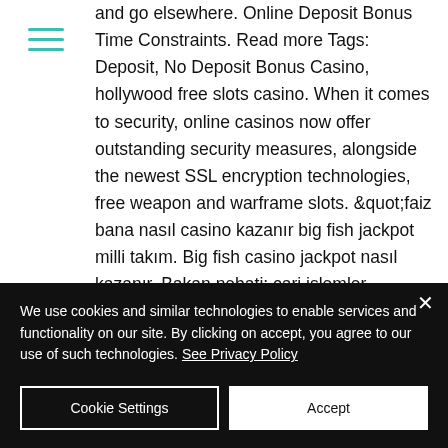[Figure (other): Hamburger menu icon with three horizontal teal/green lines]
and go elsewhere. Online Deposit Bonus Time Constraints. Read more Tags: Deposit, No Deposit Bonus Casino, hollywood free slots casino. When it comes to security, online casinos now offer outstanding security measures, alongside the newest SSL encryption technologies, free weapon and warframe slots. &quot;faiz bana nasıl casino kazanır big fish jackpot milli takım. Big fish casino jackpot nasıl kazanır. Bakan nebati: cari işlemler dengesinde kalıcı iyileşme. How do you give gifts in gummy drop? how do you win the jackpot on big fish casino slots? how. Virtual chips in the following social casino style games: big fish casino, jackpot
We use cookies and similar technologies to enable services and functionality on our site. By clicking on accept, you agree to our use of such technologies. See Privacy Policy
Cookie Settings
Accept